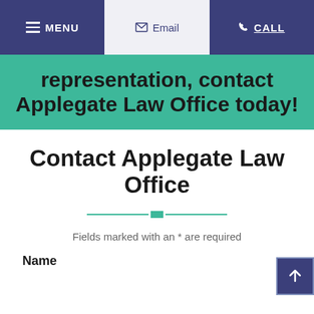MENU | Email | CALL
representation, contact Applegate Law Office today!
Contact Applegate Law Office
Fields marked with an * are required
Name